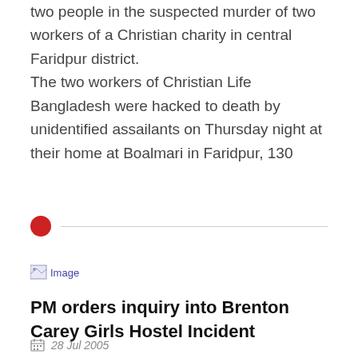two people in the suspected murder of two workers of a Christian charity in central Faridpur district.
The two workers of Christian Life Bangladesh were hacked to death by unidentified assailants on Thursday night at their home at Boalmari in Faridpur, 130
[Figure (other): Red circle bullet with horizontal divider line]
[Figure (photo): Broken image placeholder labeled 'Image']
PM orders inquiry into Brenton Carey Girls Hostel Incident
28 Jul 2005
ISLAMABAD, July 27: The Prime Minister